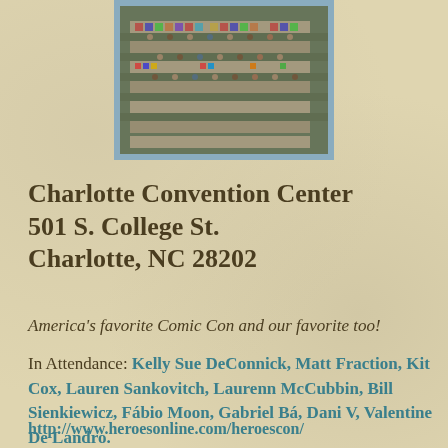[Figure (photo): Aerial/overhead view of a comic convention floor with people and tables filled with comics and merchandise]
Charlotte Convention Center
501 S. College St.
Charlotte, NC 28202
America’s favorite Comic Con and our favorite too!
In Attendance: Kelly Sue DeConnick, Matt Fraction, Kit Cox, Lauren Sankovitch, Laurenn McCubbin, Bill Sienkiewicz, Fábio Moon, Gabriel Bá, Dani V, Valentine De Landro.
http://www.heroesonline.com/heroescon/